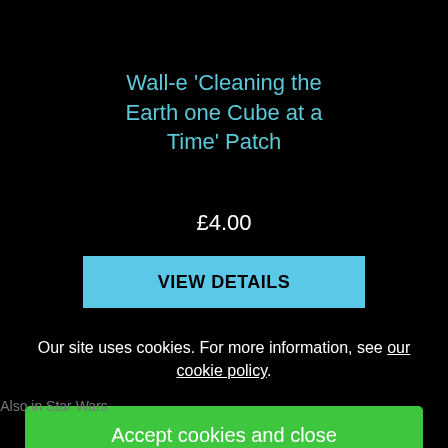Wall-e 'Cleaning the Earth one Cube at a Time' Patch
£4.00
VIEW DETAILS
Our site uses cookies. For more information, see our cookie policy.
Also in Star Wars
Accept cookies and close
Reject cookies
Manage settings